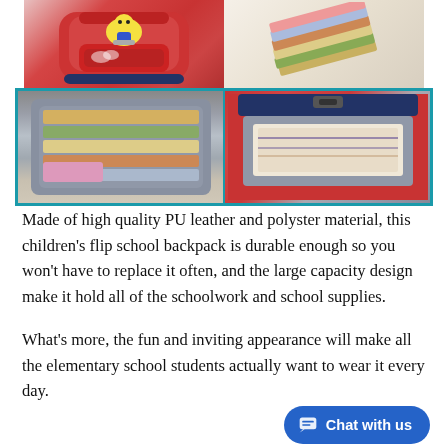[Figure (photo): Composite product photo showing a red children's school backpack with cartoon dinosaur/dragon design on top-left, a stack of textbooks/notebooks on top-right, the open main compartment of the bag filled with books and supplies on bottom-left, and the front pocket of the bag open showing a book inside on bottom-right. Bottom two photos have teal/cyan border.]
Made of high quality PU leather and polyster material, this children's flip school backpack is durable enough so you won't have to replace it often, and the large capacity design make it hold all of the schoolwork and school supplies.
What's more, the fun and inviting appearance will make all the elementary school students actually want to wear it every day.